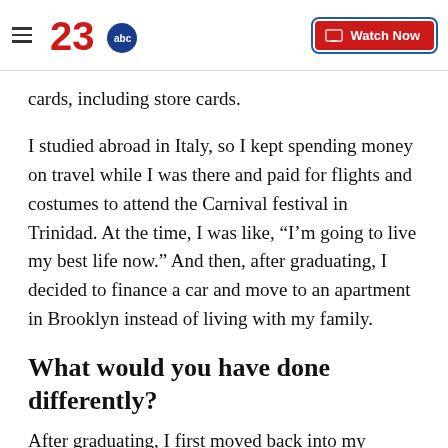23abc | Watch Now
cards, including store cards.
I studied abroad in Italy, so I kept spending money on travel while I was there and paid for flights and costumes to attend the Carnival festival in Trinidad. At the time, I was like, “I’m going to live my best life now.” And then, after graduating, I decided to finance a car and move to an apartment in Brooklyn instead of living with my family.
What would you have done differently?
After graduating, I first moved back into my family home and lived with my grandma on the top floor for